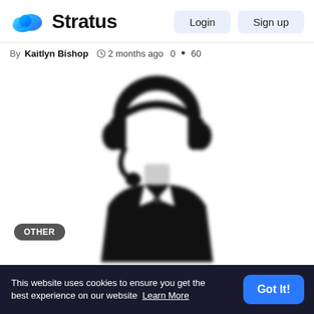Stratus — Login | Sign up
By Kaitlyn Bishop  2 months ago  0  60
[Figure (illustration): A blurred black-and-white icon of a customer support person wearing a headset with a microphone, dressed in a business suit with a tie. The image is blurry/pixelated and rendered in a silhouette style.]
OTHER
This website uses cookies to ensure you get the best experience on our website  Learn More